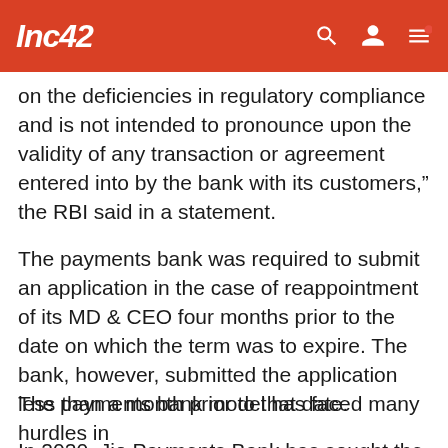Inc42
on the deficiencies in regulatory compliance and is not intended to pronounce upon the validity of any transaction or agreement entered into by the bank with its customers,” the RBI said in a statement.
The payments bank was required to submit an application in the case of reappointment of its MD & CEO four months prior to the date on which the term was to expire. The bank, however, submitted the application less than a month prior to that date.
In 2020, Jio Payments Bank has sought the RBI permission to open the current account of Reliance Industries and other group companies. Permission has been sought to use these accounts purely for collection and payment services.
The payments bank model has faced many hurdles in